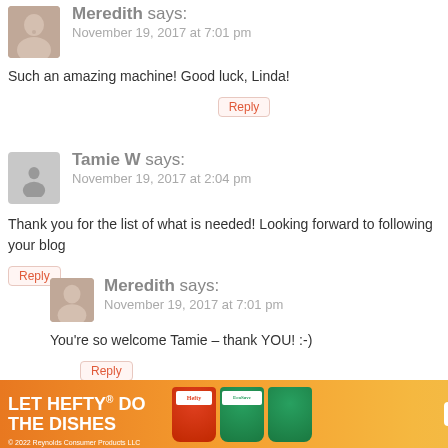[Figure (photo): Avatar photo of Meredith - woman with brown hair]
Meredith says:
November 19, 2017 at 7:01 pm
Such an amazing machine! Good luck, Linda!
Reply
[Figure (illustration): Generic grey placeholder avatar silhouette]
Tamie W says:
November 19, 2017 at 2:04 pm
Thank you for the list of what is needed! Looking forward to following your blog
Reply
[Figure (photo): Avatar photo of Meredith - woman with brown hair]
Meredith says:
November 19, 2017 at 7:01 pm
You're so welcome Tamie – thank YOU! :-)
Reply
[Figure (illustration): Generic grey placeholder avatar silhouette]
Aspen Larsen says:
[Figure (infographic): Advertisement banner: LET HEFTY DO THE DISHES - Reynolds Consumer Products LLC 2022]